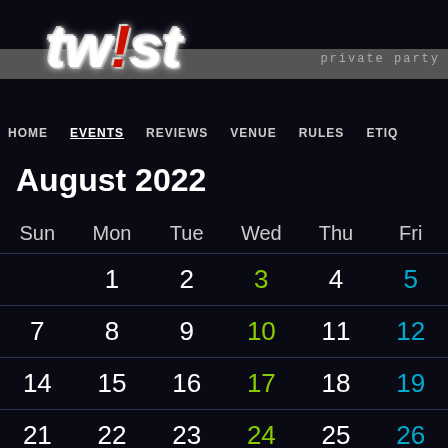[Figure (logo): Twist private party logo with stylized text]
HOME  EVENTS  REVIEWS  VENUE  RULES  ETIQ
August 2022
| Sun | Mon | Tue | Wed | Thu | Fri |
| --- | --- | --- | --- | --- | --- |
|  | 1 | 2 | 3 | 4 | 5 |
| 7 | 8 | 9 | 10 | 11 | 12 |
| 14 | 15 | 16 | 17 | 18 | 19 |
| 21 | 22 | 23 | 24 | 25 | 26 |
| 28 | 29 | 30 | 31 |  |  |